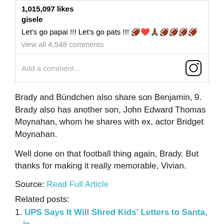[Figure (screenshot): Instagram post card showing 1,015,097 likes, username 'gisele', caption 'Let’s go papai !!! Let’s go pats !!! 🏈❤️🙏🏾🏈🏈🏈🏈', view all 4,548 comments link, and Add a comment input with Instagram icon]
Brady and Bündchen also share son Benjamin, 9. Brady also has another son, John Edward Thomas Moynahan, whom he shares with ex, actor Bridget Moynahan.
Well done on that football thing again, Brady. But thanks for making it really memorable, Vivian.
Source: Read Full Article
Related posts:
UPS Says It Will Shred Kids’ Letters to Santa, is Apparently the Grinch